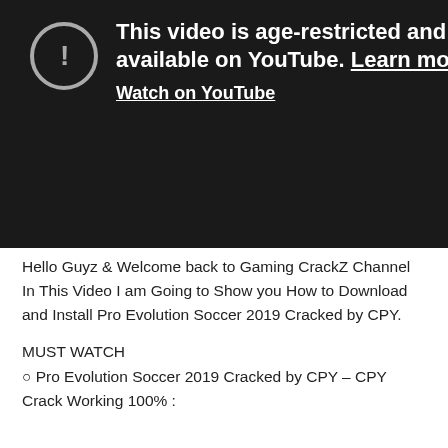[Figure (screenshot): YouTube age-restricted video placeholder on dark background. Shows an exclamation mark icon in a circle, text 'This video is age-restricted and only available on YouTube. Learn mo[re]', and a 'Watch on YouTube' link in white bold text.]
Hello Guyz & Welcome back to Gaming CrackZ Channel In This Video I am Going to Show you How to Download and Install Pro Evolution Soccer 2019 Cracked by CPY.
MUST WATCH
○ Pro Evolution Soccer 2019 Cracked by CPY – CPY Crack Working 100% :